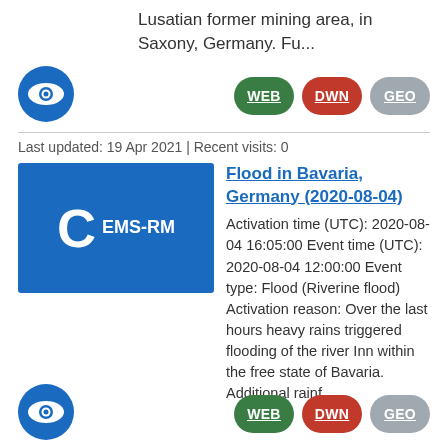Lusatian former mining area, in Saxony, Germany. Fu...
[Figure (logo): Blue circular eye icon (EMS monitoring logo)]
WEB DWN GEO
Last updated: 19 Apr 2021 | Recent visits: 0
[Figure (logo): Blue square thumbnail with letter C and EMS-RM label]
Flood in Bavaria, Germany (2020-08-04)
Activation time (UTC): 2020-08-04 16:05:00 Event time (UTC): 2020-08-04 12:00:00 Event type: Flood (Riverine flood) Activation reason: Over the last hours heavy rains triggered flooding of the river Inn within the free state of Bavaria. Additional rainf...
[Figure (logo): Blue circular eye icon (EMS monitoring logo)]
WEB DWN GEO